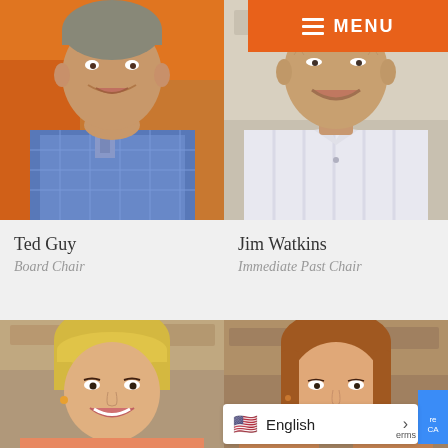[Figure (photo): Photo of Ted Guy, an older man in a blue plaid shirt, smiling, with autumn foliage in the background]
[Figure (photo): Photo of Jim Watkins, an older man in a white striped shirt, smiling, with a light background]
MENU
Ted Guy
Board Chair
Jim Watkins
Immediate Past Chair
[Figure (photo): Photo of a woman with blonde hair and bangs, smiling]
[Figure (photo): Photo of a woman with auburn hair, smiling, against a stone wall background]
English